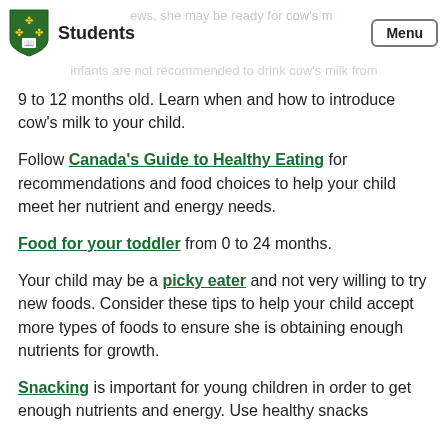Students | Menu
9 to 12 months old. Learn when and how to introduce cow's milk to your child.
Follow Canada's Guide to Healthy Eating for recommendations and food choices to help your child meet her nutrient and energy needs.
Food for your toddler from 0 to 24 months.
Your child may be a picky eater and not very willing to try new foods. Consider these tips to help your child accept more types of foods to ensure she is obtaining enough nutrients for growth.
Snacking is important for young children in order to get enough nutrients and energy. Use healthy snacks